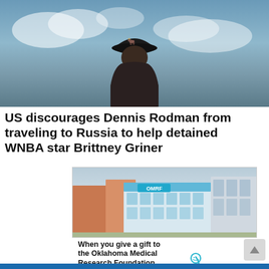[Figure (photo): Person from behind wearing a black Chicago Bulls cap, against a cloudy sky background]
US discourages Dennis Rodman from traveling to Russia to help detained WNBA star Brittney Griner
[Figure (photo): Aerial view of OMRF (Oklahoma Medical Research Foundation) building campus]
When you give a gift to the Oklahoma Medical Research Foundation, you get something back: an Oklahoma tax credit.
Please give to help more people live longer, healthier lives. at omrf.org/give
[Figure (logo): OMRF Oklahoma Medical Research Foundation logo with DNA helix icon]